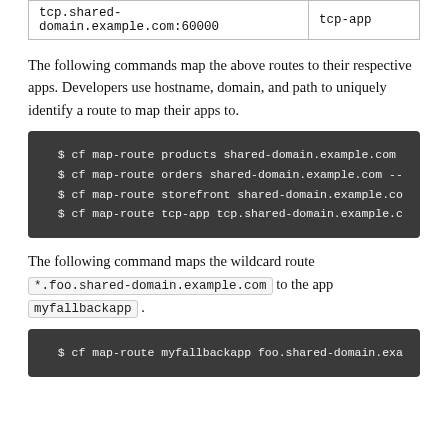|  |  |
| --- | --- |
| tcp.shared-domain.example.com:60000 | tcp-app |
The following commands map the above routes to their respective apps. Developers use hostname, domain, and path to uniquely identify a route to map their apps to.
[Figure (screenshot): Terminal code block showing four cf map-route commands for products, orders, storefront, and tcp-app]
The following command maps the wildcard route *.foo.shared-domain.example.com to the app myfallbackapp.
[Figure (screenshot): Terminal code block showing cf map-route myfallbackapp foo.shared-domain.exa...]